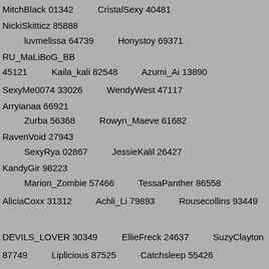MitchBlack 01342 CristalSexy 40481 NickiSkitticz 85888
luvmelissa 64739 Honystoy 69371 RU_MaLiBoG_BB 45121
Kaila_kali 82548 Azumi_Ai 13890
SexyMe0074 33026 WendyWest 47117 Arryianaa 66921
Zurba 56368 Rowyn_Maeve 61682 RavenVoid 27943
SexyRya 02867 JessieKalil 26427 KandyGir 98223
Marion_Zombie 57466 TessaPanther 86558
AliciaCoxx 31312 Achli_Li 79893 Rousecollins 93449
DEVILS_LOVER 30349 EllieFreck 24637 SuzyClayton 87749
Liplicious 87525 Catchsleep 55426
AthenaGoddess 03711 JaclynJoe 68279 Daddyskittkat 33171
FlavouredTea 45496 AllureAngelX 70499
ShaneG3 19833 youngwolfie 46587 LeppieHot 30789
AnnyMary 28377 Hushed_Agony 81753 BeautyRest 47985
Sweetbun 99983 Lexi_Rose 16845 ImAngel4u 39126
IMaBest 04275 Elenny 68244 Tiffany_craft 05588
Pantherese 24586 Bhvalecsia 23511 Miss_vix